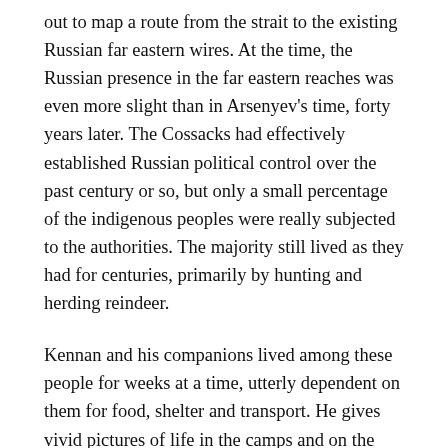out to map a route from the strait to the existing Russian far eastern wires. At the time, the Russian presence in the far eastern reaches was even more slight than in Arsenyev's time, forty years later. The Cossacks had effectively established Russian political control over the past century or so, but only a small percentage of the indigenous peoples were really subjected to the authorities. The majority still lived as they had for centuries, primarily by hunting and herding reindeer.
Kennan and his companions lived among these people for weeks at a time, utterly dependent on them for food, shelter and transport. He gives vivid pictures of life in the camps and on the trail. They had to do almost all the survey work in winter, because in the short summer, the boggy tundra becomes impassable. This meant encountering the full fury of the weather, often having to travel for